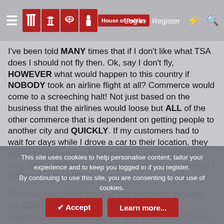House of Politics — Log in  Register
I've been told MANY times that if I don't like what TSA does I should not fly then. Ok, say I don't fly, HOWEVER what would happen to this country if NOBODY took an airline flight at all? Commerce would come to a screeching halt! Not just based on the business that the airlines would loose but ALL of the other commerce that is dependent on getting people to another city and QUICKLY. If my customers had to wait for days while I drove a car to their location, they would not be customers, when they want something, they want it NOW! and in order to keep their business I have to respond NOW.
With that said, WHY is it that this country is ignoring the CONSTITUTION?
I have asked the question "by what LAW does TSA do what they do" and NOBODY...
This site uses cookies to help personalise content, tailor your experience and to keep you logged in if you register.
By continuing to use this site, you are consenting to our use of cookies.